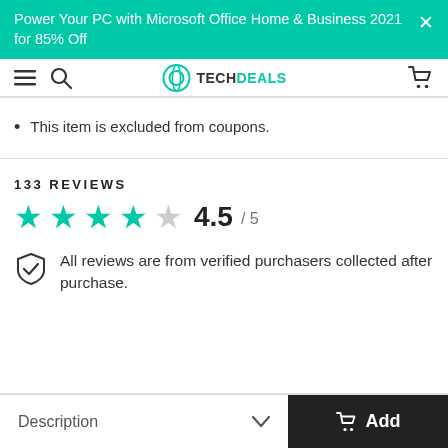Power Your PC with Microsoft Office Home & Business 2021 for 85% Off
[Figure (logo): TechDeals logo with navigation bar showing hamburger menu, search icon, TECHDEALS logo, and cart icon]
This item is excluded from coupons.
133 REVIEWS
[Figure (infographic): 4.5 out of 5 star rating with 4 filled teal stars and 1 empty star, showing 4.5 / 5]
All reviews are from verified purchasers collected after purchase.
Description